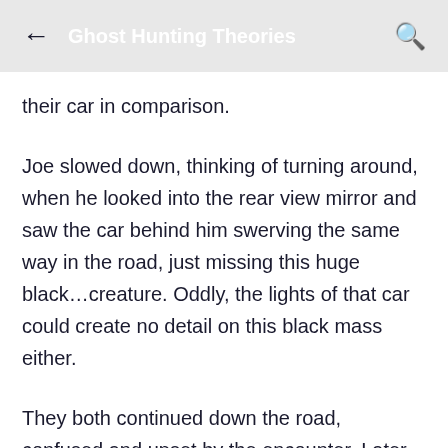Ghost Hunting Theories
their car in comparison.
Joe slowed down, thinking of turning around, when he looked into the rear view mirror and saw the car behind him swerving the same way in the road, just missing this huge black…creature. Oddly, the lights of that car could create no detail on this black mass either.
They both continued down the road, confused and upset by the encounter. Later, they passed by